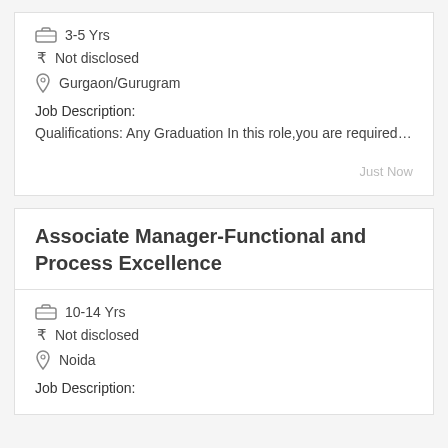3-5 Yrs
₹ Not disclosed
Gurgaon/Gurugram
Job Description:
Qualifications: Any Graduation In this role,you are required…
Just Now
Associate Manager-Functional and Process Excellence
10-14 Yrs
₹ Not disclosed
Noida
Job Description: